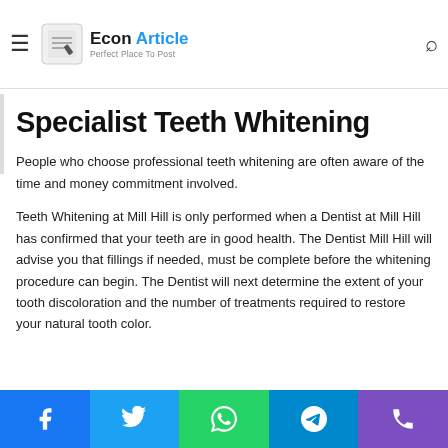Econ Article — Perfect Place To Post
Whitening Mill Hill can be replicated. With a laser whitening kit ... without leaving the comfort of your own home.
Specialist Teeth Whitening
People who choose professional teeth whitening are often aware of the time and money commitment involved.
Teeth Whitening at Mill Hill is only performed when a Dentist at Mill Hill has confirmed that your teeth are in good health. The Dentist Mill Hill will advise you that fillings if needed, must be complete before the whitening procedure can begin. The Dentist will next determine the extent of your tooth discoloration and the number of treatments required to restore your natural tooth color.
Share buttons: Facebook, Twitter, WhatsApp, Telegram, Phone